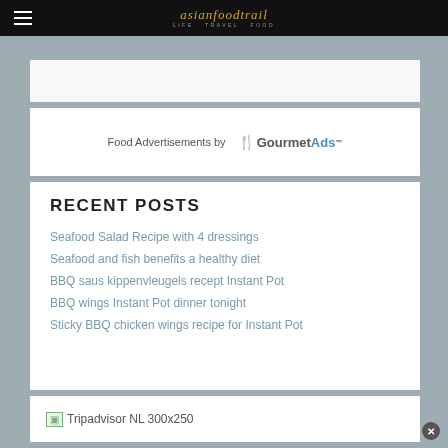asianfoodtrail - LIFE. TRAVEL. FOOD
Food Advertisements by GourmetAds™
RECENT POSTS
Seafood Salad Recipe with 4 dressings
Seafood and fish benefits a healthy diet
BBQ saus kippenvleugels recept Instant Pot
BBQ wings Instant Pot dinner tonight
Sticky BBQ chicken wings recipe for Instant Pot
[Figure (other): Tripadvisor NL 300x250 advertisement placeholder image]